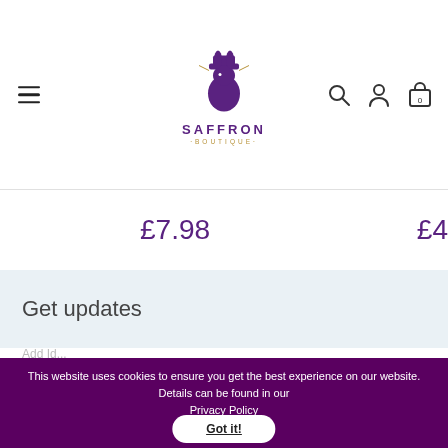[Figure (logo): Saffron Boutique logo with top-hat rabbit illustration and text 'SAFFRON BOUTIQUE']
£7.98
£4
Get updates
This website uses cookies to ensure you get the best experience on our website. Details can be found in our Privacy Policy
Got it!